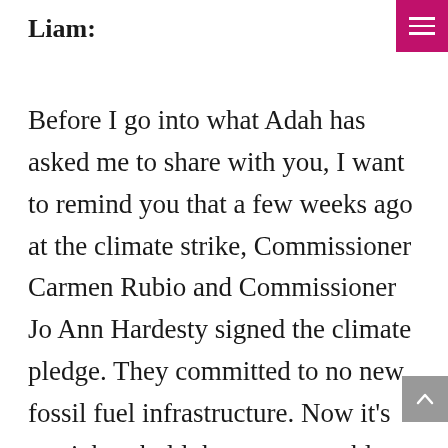Liam:
Before I go into what Adah has asked me to share with you, I want to remind you that a few weeks ago at the climate strike, Commissioner Carmen Rubio and Commissioner Jo Ann Hardesty signed the climate pledge. They committed to no new fossil fuel infrastructure. Now it’s our job to hold them accountable. That means there are only three more city commissioners to go, and all of them need to be commissioners who’re here to serve